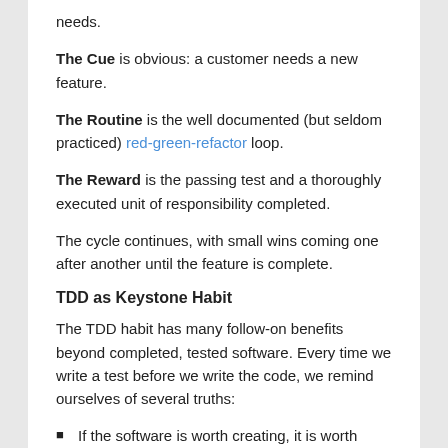needs.
The Cue is obvious: a customer needs a new feature.
The Routine is the well documented (but seldom practiced) red-green-refactor loop.
The Reward is the passing test and a thoroughly executed unit of responsibility completed.
The cycle continues, with small wins coming one after another until the feature is complete.
TDD as Keystone Habit
The TDD habit has many follow-on benefits beyond completed, tested software. Every time we write a test before we write the code, we remind ourselves of several truths:
If the software is worth creating, it is worth ensuring that it works.